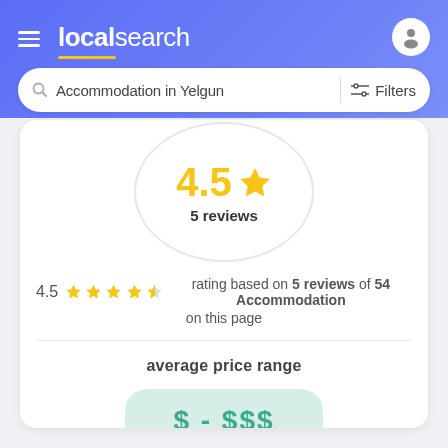[Figure (screenshot): LocalSearch website header with hamburger menu, logo, user icon, and search bar showing 'Accommodation in Yelgun' with Filters button]
4.5 ★ 5 reviews
4.5 ★★★★½ rating based on 5 reviews of 54 Accommodation on this page
average price range
$ - $$$